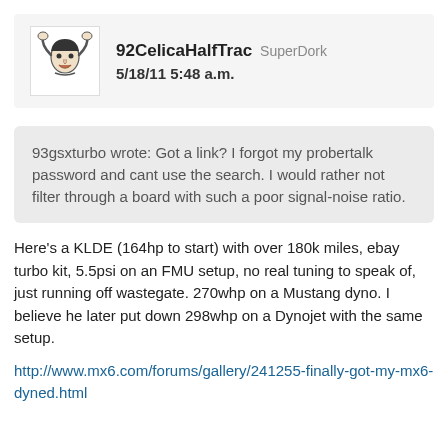92CelicaHalfTrac SuperDork 5/18/11 5:48 a.m.
93gsxturbo wrote: Got a link? I forgot my probertalk password and cant use the search. I would rather not filter through a board with such a poor signal-noise ratio.
Here's a KLDE (164hp to start) with over 180k miles, ebay turbo kit, 5.5psi on an FMU setup, no real tuning to speak of, just running off wastegate. 270whp on a Mustang dyno. I believe he later put down 298whp on a Dynojet with the same setup.
http://www.mx6.com/forums/gallery/241255-finally-got-my-mx6-dyned.html